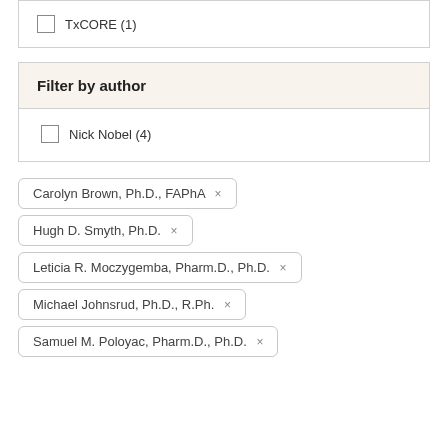TxCORE (1)
Filter by author
Nick Nobel (4)
Carolyn Brown, Ph.D., FAPhA ×
Hugh D. Smyth, Ph.D. ×
Leticia R. Moczygemba, Pharm.D., Ph.D. ×
Michael Johnsrud, Ph.D., R.Ph. ×
Samuel M. Poloyac, Pharm.D., Ph.D. ×